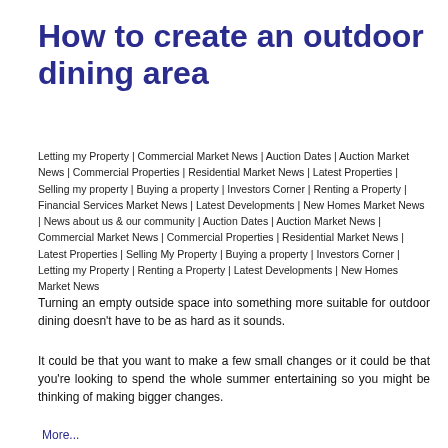How to create an outdoor dining area
Letting my Property | Commercial Market News | Auction Dates | Auction Market News | Commercial Properties | Residential Market News | Latest Properties | Selling my property | Buying a property | Investors Corner | Renting a Property | Financial Services Market News | Latest Developments | New Homes Market News | News about us & our community | Auction Dates | Auction Market News | Commercial Market News | Commercial Properties | Residential Market News | Latest Properties | Selling My Property | Buying a property | Investors Corner | Letting my Property | Renting a Property | Latest Developments | New Homes Market News
Turning an empty outside space into something more suitable for outdoor dining doesn't have to be as hard as it sounds.
It could be that you want to make a few small changes or it could be that you're looking to spend the whole summer entertaining so you might be thinking of making bigger changes.
More...